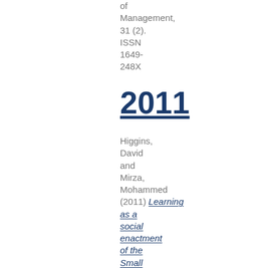of Management, 31 (2). ISSN 1649-248X
2011
Higgins, David and Mirza, Mohammed (2011) Learning as a social enactment of the Small